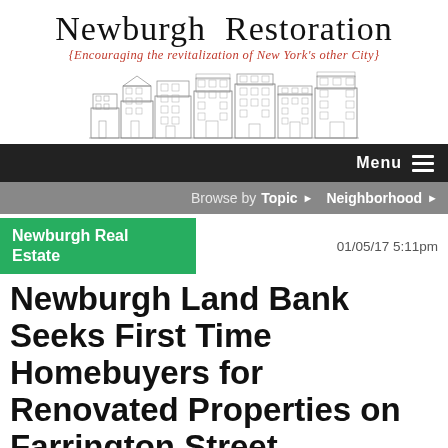Newburgh Restoration
{Encouraging the revitalization of New York's other City}
[Figure (illustration): Pen-and-ink drawing of historic Newburgh building facades/streetscape]
Menu
Browse by  Topic ▶  Neighborhood ▶
Newburgh Real Estate
01/05/17 5:11pm
Newburgh Land Bank Seeks First Time Homebuyers for Renovated Properties on Farrington Street
by Cher  💬 1 Comment